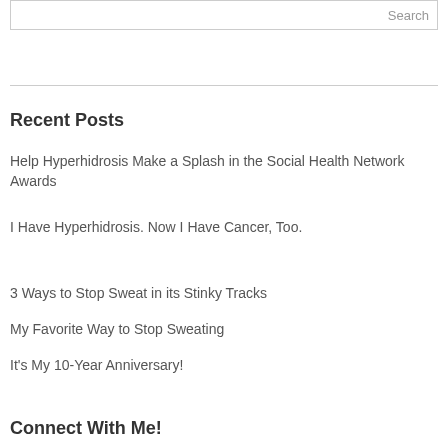Search
Recent Posts
Help Hyperhidrosis Make a Splash in the Social Health Network Awards
I Have Hyperhidrosis. Now I Have Cancer, Too.
3 Ways to Stop Sweat in its Stinky Tracks
My Favorite Way to Stop Sweating
It's My 10-Year Anniversary!
Connect With Me!